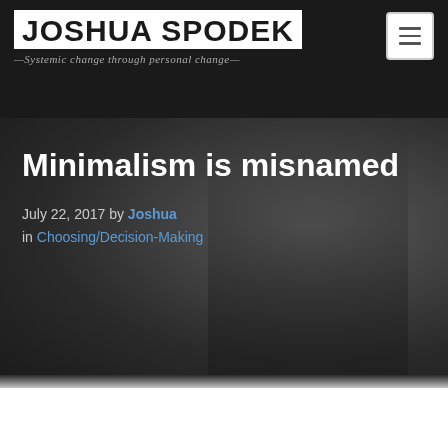JOSHUA SPODEK —Systemic change through personal change—
Minimalism is misnamed
July 22, 2017 by Joshua in Choosing/Decision-Making